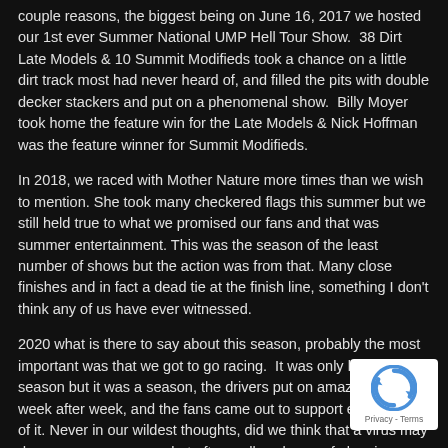couple reasons, the biggest being on June 16, 2017 we hosted our 1st ever Summer National UMP Hell Tour Show.  38 Dirt Late Models & 10 Summit Modifieds took a chance on a little dirt track most had never heard of, and filled the pits with double decker stackers and put on a phenomenal show.  Billy Moyer took home the feature win for the Late Models & Nick Hoffman was the feature winner for Summit Modifieds.
In 2018, we raced with Mother Nature more times than we wish to mention. She took many checkered flags this summer but we still held true to what we promised our fans and that was summer entertainment. This was the season of the least number of shows but the action was from that. Many close finishes and in fact a dead tie at the finish line, something I don't think any of us have ever witnessed.
2020 what is there to say about this season, probably the most important was that we got to go racing.  It was only half a season but it was a season, the drivers put on amazing shows week after week, and the fans came out to support every minute of it. Never in our wildest thoughts, did we think that a virus may damper on our season, but after endless hours of planning, adjusting, re prioritizing, we made a go at it and haven't looked back.
[Figure (logo): reCAPTCHA badge with rotating arrows logo and Privacy - Terms text]